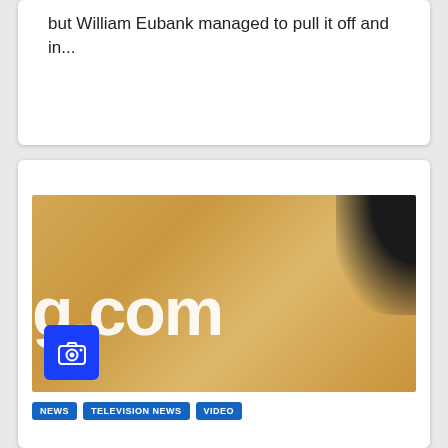but William Eubank managed to pull it off and in...
[Figure (photo): A close-up photograph of a wooden surface with a website watermark text showing 'g.com' in white letters and a dark shape in the top-right corner. A blue camera icon badge is overlaid in the bottom-left corner of the image.]
NEWS
TELEVISION NEWS
VIDEO